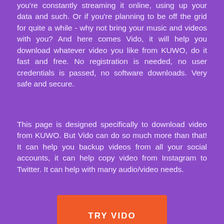you're constantly streaming it online, using up your data and such. Or if you're planning to be off the grid for quite a while - why not bring your music and videos with you? And here comes Vido, it will help you download whatever video you like from KUWO, do it fast and free. No registration is needed, no user credentials is passed, no software downloads. Very safe and secure.
This page is designed specifically to download video from KUWO. But Vido can do so much more than that! It can help you backup videos from all your social accounts, it can help copy video from Instagram to Twitter. It can help with many audio/video needs.